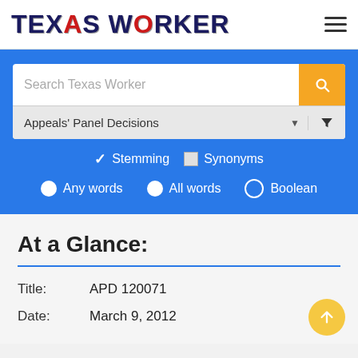[Figure (logo): Texas Worker logo with stylized American flag text]
[Figure (screenshot): Search interface with text input, Appeals Panel Decisions dropdown, Stemming/Synonyms checkboxes, and Any words/All words/Boolean radio buttons]
At a Glance:
Title: APD 120071
Date: March 9, 2012